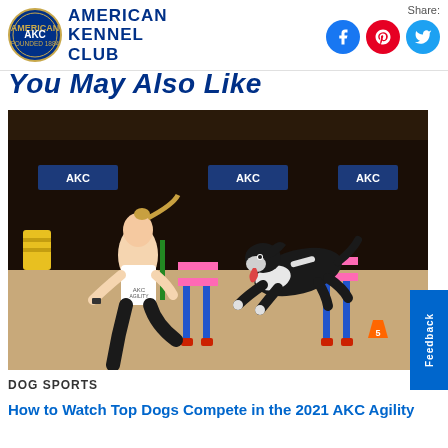American Kennel Club
Share:
You May Also Like
[Figure (photo): A woman in a white AKC Agility t-shirt and black leggings runs alongside a black-and-white Border Collie leaping over a pink-and-blue agility hurdle in an indoor arena with AKC-branded banners in the background.]
DOG SPORTS
How to Watch Top Dogs Compete in the 2021 AKC Agility